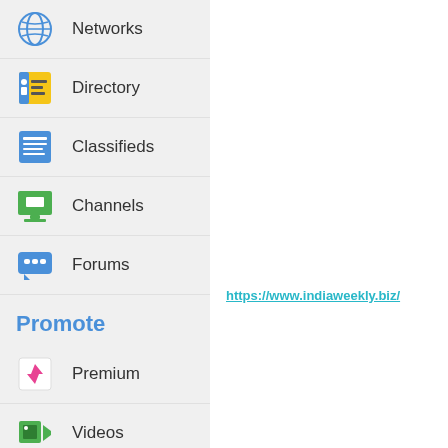Networks
Directory
Classifieds
Channels
Forums
Promote
Premium
Videos
Blogs
Images
https://www.indiaweekly.biz/